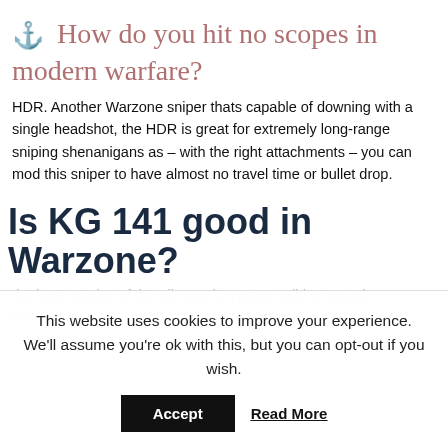How do you hit no scopes in modern warfare?
HDR. Another Warzone sniper thats capable of downing with a single headshot, the HDR is great for extremely long-range sniping shenanigans as – with the right attachments – you can mod this sniper to have almost no travel time or bullet drop.
Is KG 141 good in Warzone?
The base version of the Kilo 141 is a pretty solid weapon in Warzone...
This website uses cookies to improve your experience. We'll assume you're ok with this, but you can opt-out if you wish.